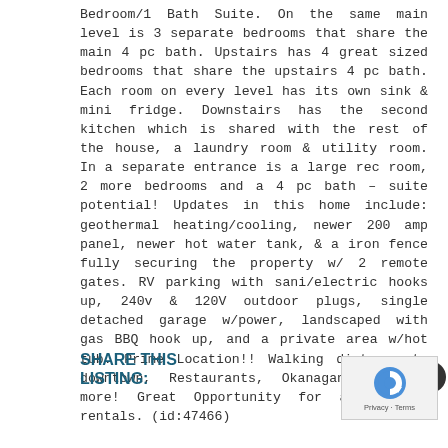Bedroom/1 Bath Suite. On the same main level is 3 separate bedrooms that share the main 4 pc bath. Upstairs has 4 great sized bedrooms that share the upstairs 4 pc bath. Each room on every level has its own sink & mini fridge. Downstairs has the second kitchen which is shared with the rest of the house, a laundry room & utility room. In a separate entrance is a large rec room, 2 more bedrooms and a 4 pc bath – suite potential! Updates in this home include: geothermal heating/cooling, newer 200 amp panel, newer hot water tank, & a iron fence fully securing the property w/ 2 remote gates. RV parking with sani/electric hooks up, 240v & 120V outdoor plugs, single detached garage w/power, landscaped with gas BBQ hook up, and a private area w/hot tub. Prime Location!! Walking distance to downtown, Restaurants, Okanagan Beach & more! Great Opportunity for a vacation rentals. (id:47466)
SHARE THIS LISTING:
[Figure (other): Social media icons: Facebook, Twitter, Instagram, Pinterest]